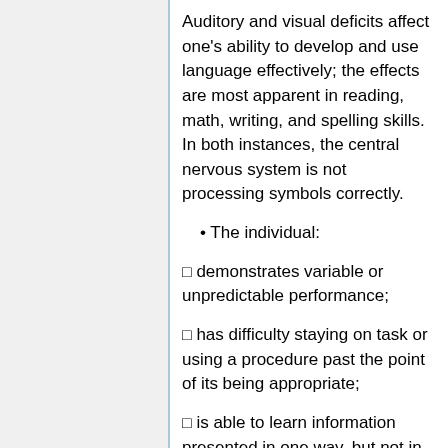Auditory and visual deficits affect one's ability to develop and use language effectively; the effects are most apparent in reading, math, writing, and spelling skills. In both instances, the central nervous system is not processing symbols correctly.
The individual:
□ demonstrates variable or unpredictable performance;
□ has difficulty staying on task or using a procedure past the point of its being appropriate;
□ is able to learn information presented in one way, but not in another;
□ experiences severe underachievement in one or more of the basic academic areas (reading, writing,